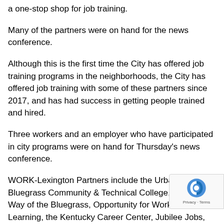a one-stop shop for job training.
Many of the partners were on hand for the news conference.
Although this is the first time the City has offered job training programs in the neighborhoods, the City has offered job training with some of these partners since 2017, and has had success in getting people trained and hired.
Three workers and an employer who have participated in city programs were on hand for Thursday's news conference.
WORK-Lexington Partners include the Urban League, Bluegrass Community & Technical College, United Way of the Bluegrass, Opportunity for Work & Learning, the Kentucky Career Center, Jubilee Jobs, Kentucky Refugee Ministri... Lexington Rescue Mission, and Goodwill Industries of Kentucky.